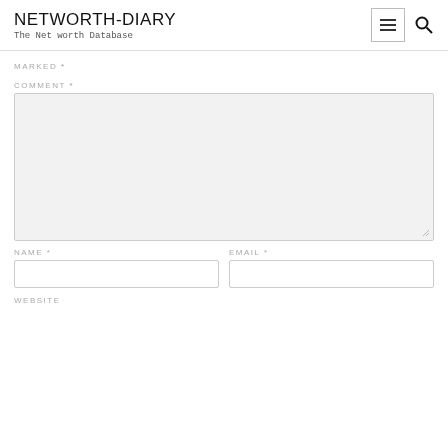NETWORTH-DIARY
The Net worth Database
MARKED *
COMMENT *
[Figure (other): Large textarea input field with light gray background]
NAME *
EMAIL *
[Figure (other): Name text input field]
[Figure (other): Email text input field]
WEBSITE